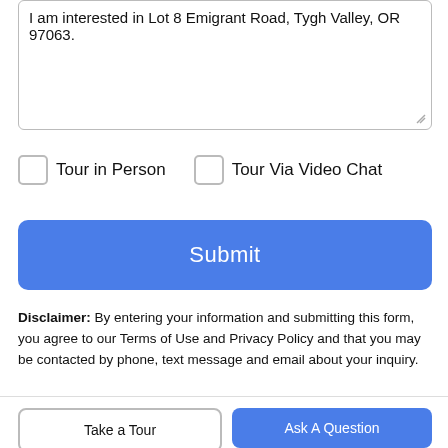I am interested in Lot 8 Emigrant Road, Tygh Valley, OR 97063.
Tour in Person
Tour Via Video Chat
Submit
Disclaimer: By entering your information and submitting this form, you agree to our Terms of Use and Privacy Policy and that you may be contacted by phone, text message and email about your inquiry.
[Figure (logo): Brook real estate logo with house icon and 'BROOK' text]
Take a Tour
Ask A Question